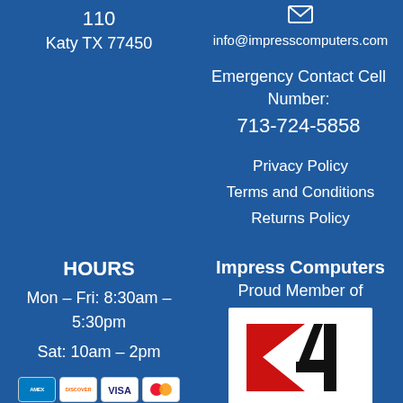110
Katy TX 77450
[Figure (illustration): Email envelope icon]
info@impresscomputers.com
Emergency Contact Cell Number:
713-724-5858
Privacy Policy
Terms and Conditions
Returns Policy
HOURS
Mon – Fri: 8:30am – 5:30pm
Sat: 10am – 2pm
[Figure (illustration): Payment card logos: AMEX, Discover, Visa, Mastercard]
Impress Computers
Proud Member of
[Figure (logo): K4 logo — red K and black 4 on white background]